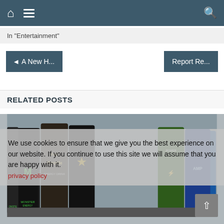Navigation bar with home, menu, and search icons
In "Entertainment"
◀ A New H...
Report Re...
RELATED POSTS
[Figure (photo): Multiple energy drink cans including Monster, Full Throttle, Rockstar, Red Bull, NOS Power, and AMP energy drinks lined up together]
We use cookies to ensure that we give you the best experience on our website. If you continue to use this site we will assume that you are happy with it.
privacy policy